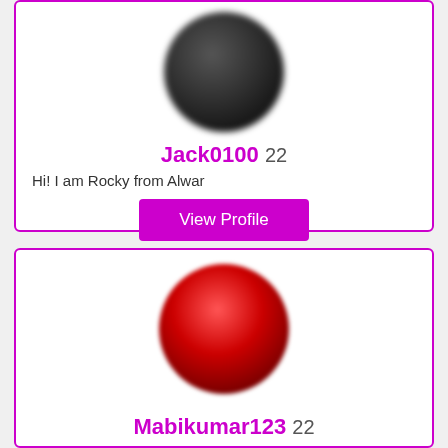[Figure (photo): Circular profile avatar with dark black blurred appearance for user Jack0100]
Jack0100 22
Hi! I am Rocky from Alwar
View Profile
[Figure (photo): Circular profile avatar with red/dark red blurred appearance for user Mabikumar123]
Mabikumar123 22